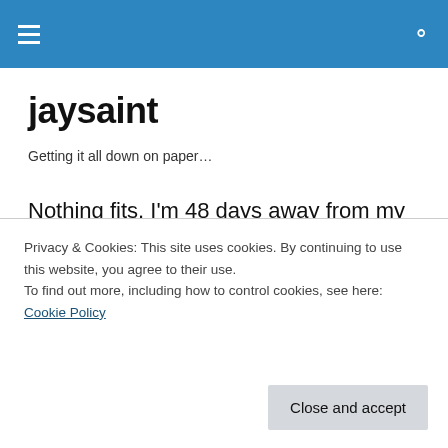jaysaint — navigation header with hamburger menu and search icon
jaysaint
Getting it all down on paper…
Nothing fits. I'm 48 days away from my due date and I've had to put aside most of my maternity clothes. I cannot bear the feeling of my waistband or button irritating my
Privacy & Cookies: This site uses cookies. By continuing to use this website, you agree to their use.
To find out more, including how to control cookies, see here: Cookie Policy
happens, but we're shutting down baby making in the St.